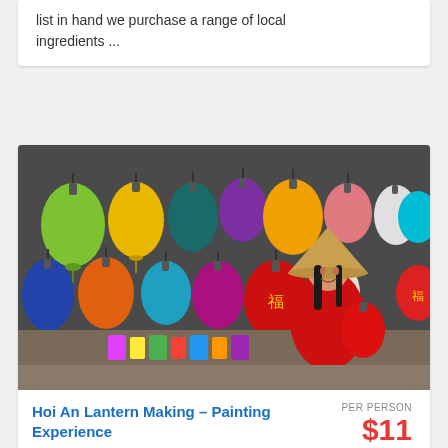list in hand we purchase a range of local ingredients ...
[Figure (photo): A smiling girl in traditional Vietnamese red ao dai and conical hat holding a red lantern, standing in front of a display of colorful silk lanterns in Hoi An, Vietnam.]
Hoi An Lantern Making – Painting Experience
PER PERSON $11
1 DAY
Hoi An Lantern Making - Painting